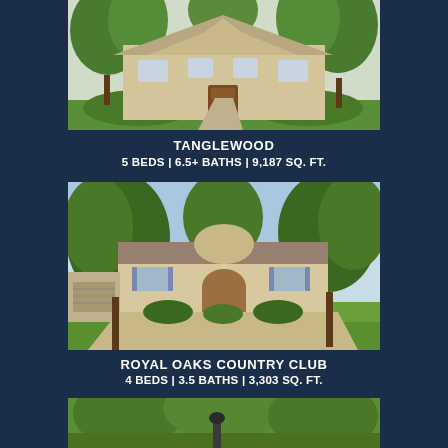[Figure (photo): Exterior photo of a large two-story luxury home with stone facade, surrounded by mature oak trees, green lawn, and a curved driveway. Tanglewood neighborhood, Houston.]
TANGLEWOOD
5 BEDS | 6.5+ BATHS | 9,187 SQ. FT.
[Figure (photo): Exterior photo of a single-story Mediterranean style home with arched entryway, blue shutters, and mature trees in Royal Oaks Country Club neighborhood.]
ROYAL OAKS COUNTRY CLUB
4 BEDS | 3.5 BATHS | 3,303 SQ. FT.
[Figure (photo): Exterior photo of a home partially visible behind large trees with green foliage.]